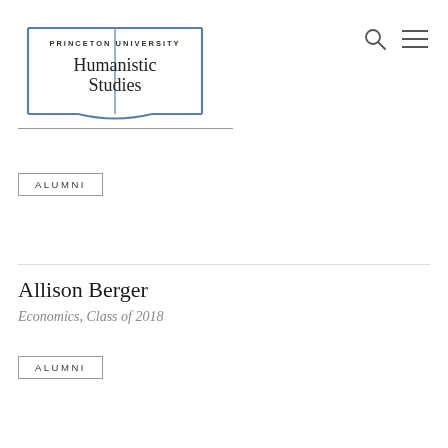[Figure (logo): Princeton University Humanistic Studies logo — open book illustration with text 'PRINCETON UNIVERSITY' above and 'Humanistic Studies' in large serif font, drawn in steel blue]
ALUMNI
Allison Berger
Economics, Class of 2018
ALUMNI